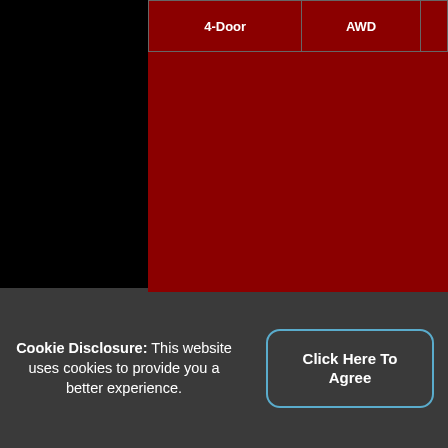| 4-Door | AWD |  |
| --- | --- | --- |
VIN: 2HJYK16567H532862
3.5-L V-6 SOHC 24V, Automatic, One Owner Vehicle, Non-Smoker, Full Service History, Multi-Point Inspected, Never Wrecked, Powerful Strong Running Engine, Fuel Efficient, Sporty Handling, Fully Equipped, Mechanically Perfect, Perfect Exterior, Perfect Interior, Mechanically Sound, Clean Exterior, Clean Interior, Free Carfax Report, Carfax Dealer Certified Used Car, Carfax One Owner Certified, Free Autocheck Report
[Figure (logo): Carfax 1 Owner certified badge with blue starburst background]
Cookie Disclosure: This website uses cookies to provide you a better experience.
Click Here To Agree